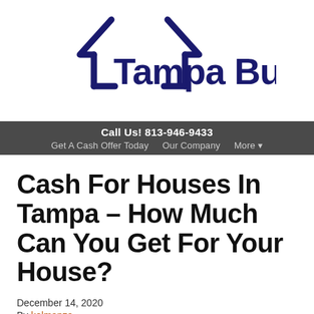[Figure (logo): Tampa Buyers logo with house outline icon and company name in dark navy/indigo text]
Call Us! 813-946-9433
Get A Cash Offer Today   Our Company   More ▾
Cash For Houses In Tampa – How Much Can You Get For Your House?
December 14, 2020
By kolmanza